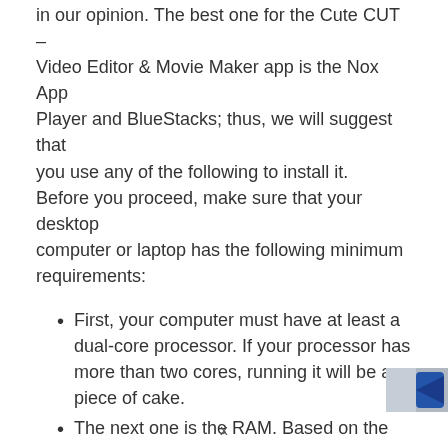in our opinion. The best one for the Cute CUT – Video Editor & Movie Maker app is the Nox App Player and BlueStacks; thus, we will suggest that you use any of the following to install it. Before you proceed, make sure that your desktop computer or laptop has the following minimum requirements:
First, your computer must have at least a dual-core processor. If your processor has more than two cores, running it will be a piece of cake.
The next one is the RAM. Based on the website of Nox Player and BlueStacks, they require at least 2 GB.
x